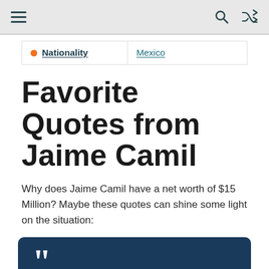Navigation bar with hamburger menu, search, and shuffle icons
| Nationality | Mexico |
Favorite Quotes from Jaime Camil
Why does Jaime Camil have a net worth of $15 Million? Maybe these quotes can shine some light on the situation:
I have friends of mine that are actors or singers, and they're the classic guys where, they're onstage, and they're like, 'Okay, the blonde in the third row, seat 24, bring her to my dressing room.' I've